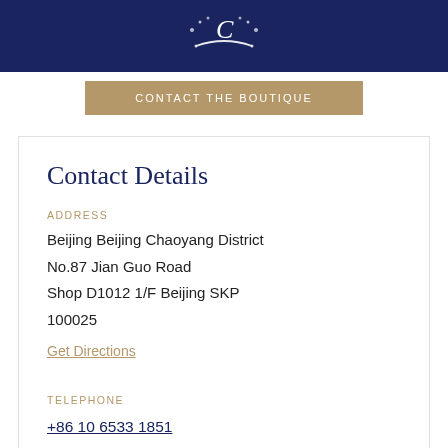[Figure (logo): Crescent moon and star logo in white on dark navy background]
CONTACT THE BOUTIQUE
Contact Details
ADDRESS
Beijing Beijing Chaoyang District
No.87 Jian Guo Road
Shop D1012 1/F Beijing SKP
100025
Get Directions
TELEPHONE
+86 10 6533 1851
Boutique Hours